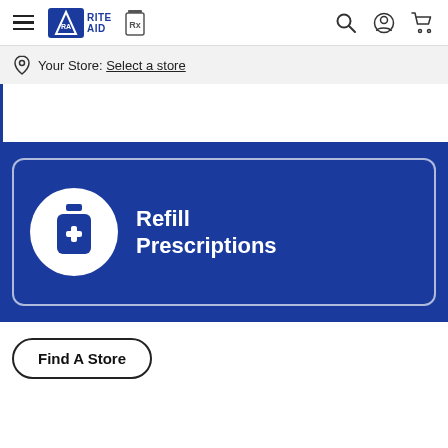[Figure (screenshot): Rite Aid website navigation bar with hamburger menu, Rite Aid logo, Rx prescription bottle icon, search icon, account icon, and cart icon]
Your Store: Select a store
[Figure (illustration): White area with blue left border, then blue section with Refill Prescriptions card containing a white circle with pharmacy bottle icon and white text reading Refill Prescriptions]
Refill Prescriptions
Find A Store